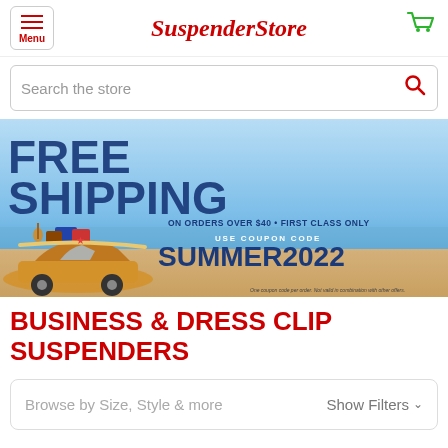Menu | SuspenderStore | [Cart]
Search the store
[Figure (infographic): Promotional banner for SuspenderStore showing FREE SHIPPING on orders over $40, First Class Only. Use coupon code SUMMER2022. Features an illustration of a car loaded with luggage, a guitar, a surfboard, and travel items on a beach/ocean background.]
BUSINESS & DRESS CLIP SUSPENDERS
Browse by Size, Style & more    Show Filters ∨